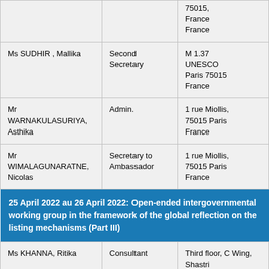| Name | Title | Address |
| --- | --- | --- |
|  |  | 75015,
France
France |
| Ms SUDHIR , Mallika | Second Secretary | M 1.37
UNESCO
Paris 75015
France |
| Mr WARNAKULASURIYA, Asthika | Admin. | 1 rue Miollis,
75015 Paris
France |
| Mr WIMALAGUNARATNE, Nicolas | Secretary to Ambassador | 1 rue Miollis,
75015 Paris
France |
25 April 2022 au 26 April 2022: Open-ended intergovernmental working group in the framework of the global reflection on the listing mechanisms (Part III)
| Name | Title | Address |
| --- | --- | --- |
| Ms KHANNA, Ritika | Consultant | Third floor, C Wing, Shastri Bh... |